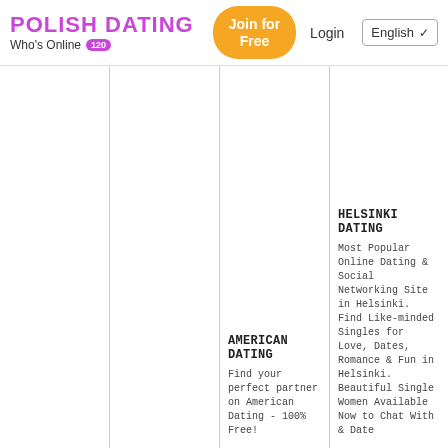POLISH DATING Who's Online 120 | Join for Free | Login | English
AMERICAN DATING
Find your perfect partner on American Dating - 100% Free!
HELSINKI DATING
Most Popular Online Dating & Social Networking Site in Helsinki. Find Like-minded Singles for Love, Dates, Romance & Fun in Helsinki. Beautiful Single Women Available Now to Chat With & Date